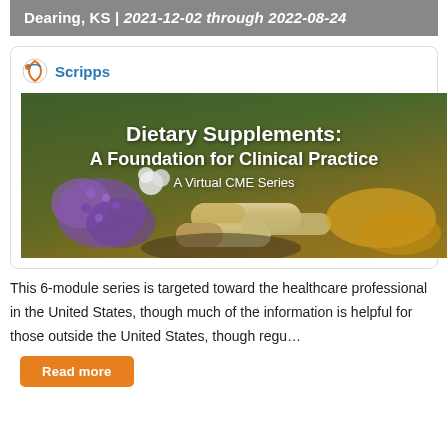Dearing, KS | 2021-12-02 through 2022-08-24
[Figure (photo): Scripps logo and CME course banner image for 'Dietary Supplements: A Foundation for Clinical Practice — A Virtual CME Series', showing herbal supplements and capsules with flowers in background]
This 6-module series is targeted toward the healthcare professional in the United States, though much of the information is helpful for those outside the United States, though regu…
Read more